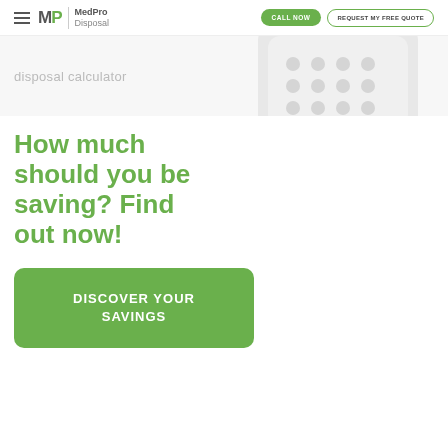MedPro Disposal | CALL NOW | REQUEST MY FREE QUOTE
[Figure (screenshot): Partial view of a white calculator device against a light background, shown in the hero strip area]
disposal calculator
How much should you be saving? Find out now!
DISCOVER YOUR SAVINGS